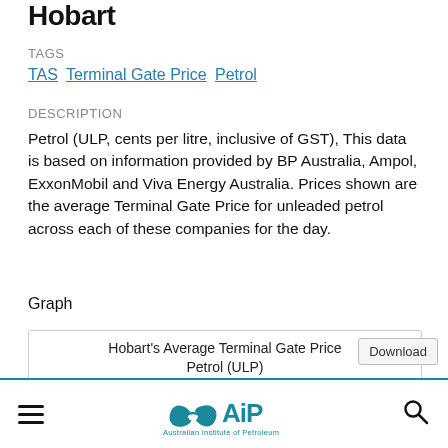Hobart
TAGS
TAS Terminal Gate Price Petrol
DESCRIPTION
Petrol (ULP, cents per litre, inclusive of GST), This data is based on information provided by BP Australia, Ampol, ExxonMobil and Viva Energy Australia. Prices shown are the average Terminal Gate Price for unleaded petrol across each of these companies for the day.
Graph
[Figure (other): Chart box titled Hobart's Average Terminal Gate Price Petrol (ULP) with a Download button]
Australian Institute of Petroleum logo with hamburger menu and search icon